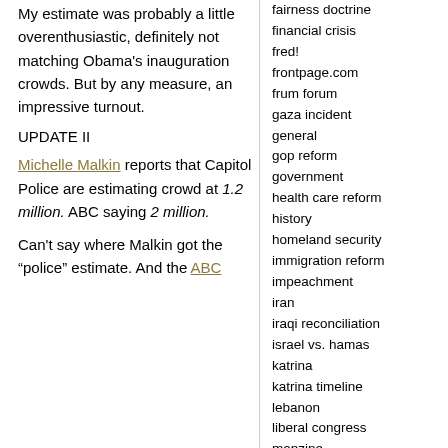My estimate was probably a little overenthusiastic, definitely not matching Obama's inauguration crowds. But by any measure, an impressive turnout.
UPDATE II
Michelle Malkin reports that Capitol Police are estimating crowd at 1.2 million. ABC saying 2 million.
Can't say where Malkin got the “police” estimate. And the ABC
fairness doctrine
financial crisis
fred!
frontpage.com
frum forum
gaza incident
general
gop reform
government
health care reform
history
homeland security
immigration reform
impeachment
iran
iraqi reconciliation
israel vs. hamas
katrina
katrina timeline
lebanon
liberal congress
manzine
marvin moonbat
media
middle east
moonbats
national health insurance
net neutrality
newsreal blog
obama inauguration
obama-rezko
obamania!
oil spill